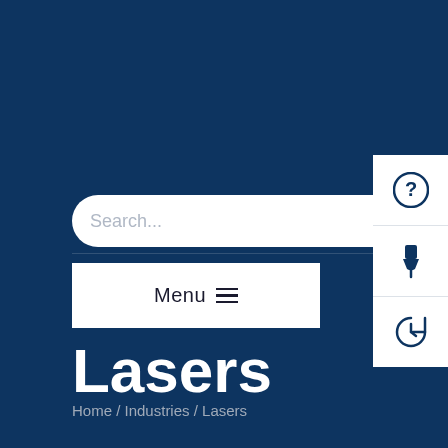[Figure (screenshot): Website interface with dark blue background showing a search bar with placeholder text 'Search...', a Menu button with hamburger icon, a sidebar panel with help (?), pin, and history icons, and a page title 'Lasers' with breadcrumb 'Home / Industries / Lasers']
Search...
Menu
Lasers
Home / Industries / Lasers